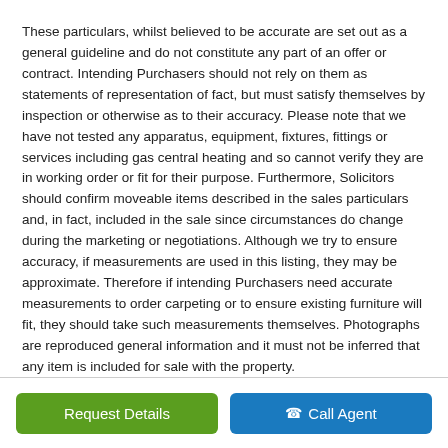These particulars, whilst believed to be accurate are set out as a general guideline and do not constitute any part of an offer or contract. Intending Purchasers should not rely on them as statements of representation of fact, but must satisfy themselves by inspection or otherwise as to their accuracy. Please note that we have not tested any apparatus, equipment, fixtures, fittings or services including gas central heating and so cannot verify they are in working order or fit for their purpose. Furthermore, Solicitors should confirm moveable items described in the sales particulars and, in fact, included in the sale since circumstances do change during the marketing or negotiations. Although we try to ensure accuracy, if measurements are used in this listing, they may be approximate. Therefore if intending Purchasers need accurate measurements to order carpeting or to ensure existing furniture will fit, they should take such measurements themselves. Photographs are reproduced general information and it must not be inferred that any item is included for sale with the property.
TENURE
To be confirmed by the Vendor’s Solicitors